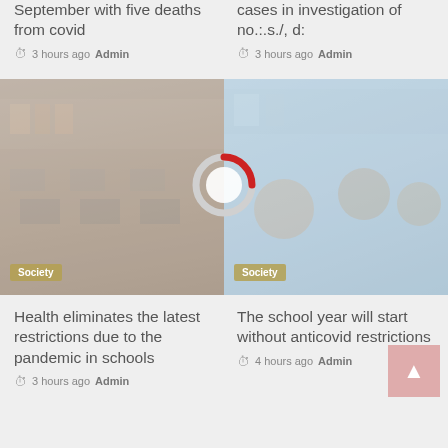September with five deaths from covid
3 hours ago Admin
cases in investigation of no.:.s./, d:
3 hours ago Admin
[Figure (photo): Classroom with students seated at desks, bookshelves in background, Society badge overlay]
[Figure (other): Loading spinner / donut ring with red arc quarter, white center circle]
[Figure (photo): Students smiling in classroom with light blue background, Society badge overlay]
Health eliminates the latest restrictions due to the pandemic in schools
3 hours ago Admin
The school year will start without anticovid restrictions
4 hours ago Admin